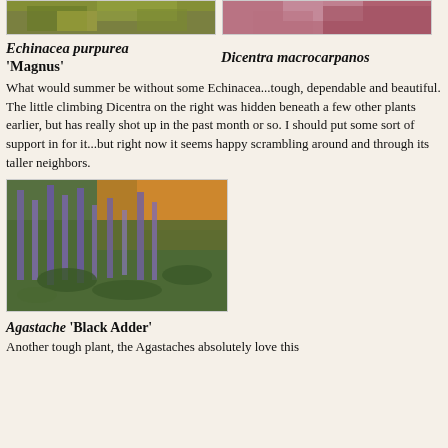[Figure (photo): Top-cropped photo of Echinacea purpurea Magnus plant with yellow-green foliage]
[Figure (photo): Top-cropped photo of Dicentra macrocarpanos plant with pink/purple flowers]
Echinacea purpurea 'Magnus'
Dicentra macrocarpanos
What would summer be without some Echinacea...tough, dependable and beautiful. The little climbing Dicentra on the right was hidden beneath a few other plants earlier, but has really shot up in the past month or so. I should put some sort of support in for it...but right now it seems happy scrambling around and through its taller neighbors.
[Figure (photo): Close-up photo of Agastache 'Black Adder' with purple flower spikes and orange flowers in background]
Agastache 'Black Adder'
Another tough plant, the Agastaches absolutely love this